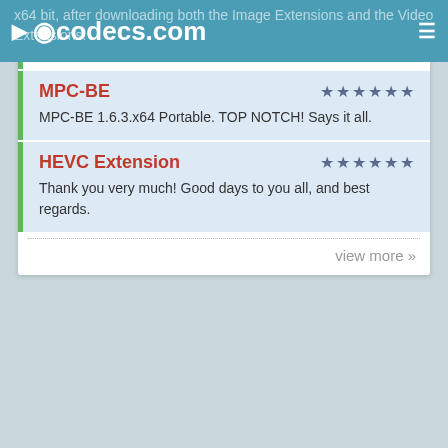codecs.com
x64 bit, after downloading both the Image Extensions and the Video Extensions. Irfanview promptly opened the ...
MPC-BE
MPC-BE 1.6.3.x64 Portable. TOP NOTCH! Says it all.
HEVC Extension
Thank you very much! Good days to you all, and best regards.
view more »